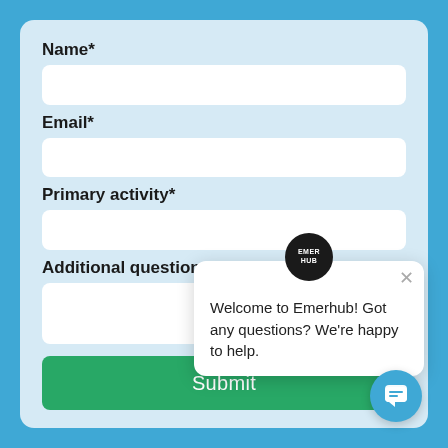Name*
[Figure (screenshot): Empty text input field for Name]
Email*
[Figure (screenshot): Empty text input field for Email]
Primary activity*
[Figure (screenshot): Empty text input field for Primary activity]
Additional questions
[Figure (screenshot): Empty textarea for Additional questions]
[Figure (screenshot): Emerhub chat popup: Welcome to Emerhub! Got any questions? We're happy to help.]
Submit